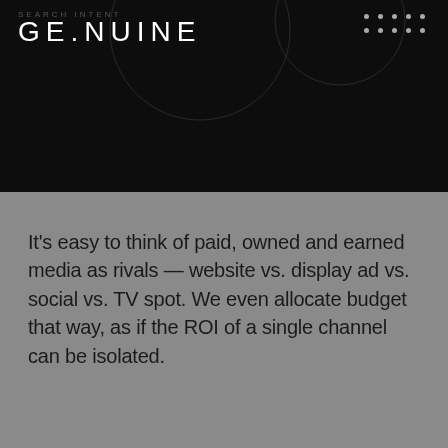[Figure (logo): GE.NUINE logo in white on black background with decorative circles and dot grid]
It's easy to think of paid, owned and earned media as rivals — website vs. display ad vs. social vs. TV spot. We even allocate budget that way, as if the ROI of a single channel can be isolated.